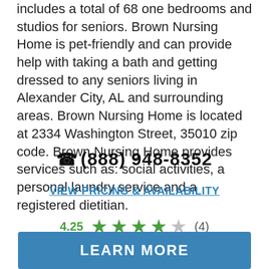includes a total of 68 one bedrooms and studios for seniors. Brown Nursing Home is pet-friendly and can provide help with taking a bath and getting dressed to any seniors living in Alexander City, AL and surrounding areas. Brown Nursing Home is located at 2334 Washington Street, 35010 zip code. Brown Nursing Home provides services such as: social activities, a personal laundry service and a registered dietitian.
(888) 948-8352
VIEW PRICING & AVAILABILITY
4.25 ★★★★☆ (4)
LEARN MORE